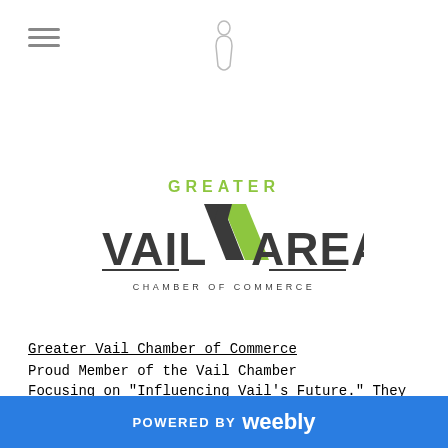[Figure (logo): Hamburger menu icon (three horizontal lines) in top left corner]
[Figure (logo): Small decorative icon centered at top of page]
[Figure (logo): Greater Vail Area Chamber of Commerce logo with green and dark gray text and V-chevron graphic]
Greater Vail Chamber of Commerce
Proud Member of the Vail Chamber
Focusing on "Influencing Vail's Future." They have helped us rent an office and network with others!
POWERED BY weebly